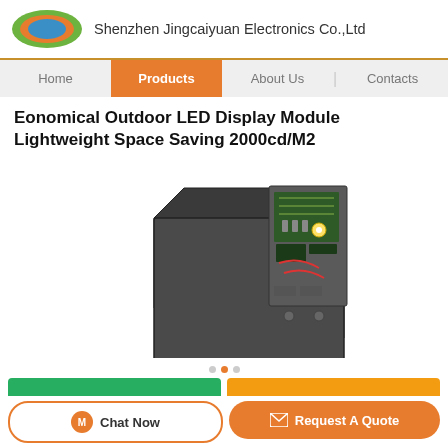Shenzhen Jingcaiyuan Electronics Co.,Ltd
Eonomical Outdoor LED Display Module Lightweight Space Saving 2000cd/M2
[Figure (photo): LED display module product photo showing a rectangular LED module with open back panel revealing circuit boards and electronic components]
Chat Now
Request A Quote